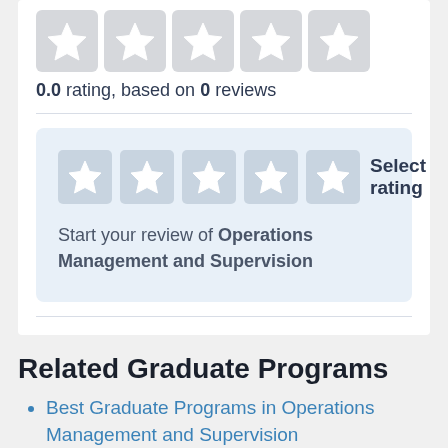0.0 rating, based on 0 reviews
[Figure (other): Five empty star rating icons in a row (light grey stars on grey background), for displaying a 0.0 rating]
Select rating
Start your review of Operations Management and Supervision
Related Graduate Programs
Best Graduate Programs in Operations Management and Supervision